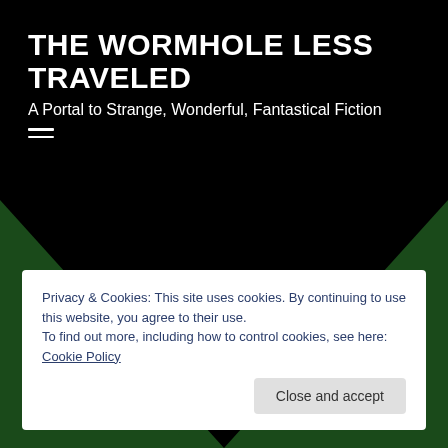THE WORMHOLE LESS TRAVELED
A Portal to Strange, Wonderful, Fantastical Fiction
[Figure (illustration): Dark website header background with black center and dark green triangular shapes on left and right sides forming a V/chevron pattern]
Privacy & Cookies: This site uses cookies. By continuing to use this website, you agree to their use.
To find out more, including how to control cookies, see here: Cookie Policy
Close and accept